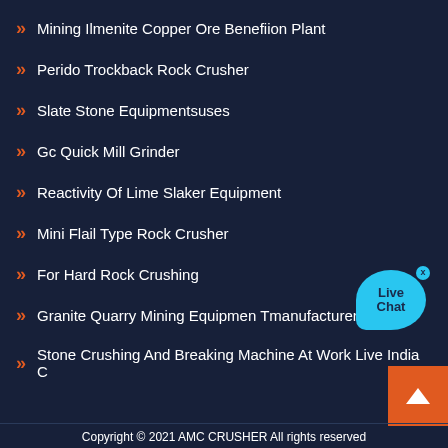Mining Ilmenite Copper Ore Benefiion Plant
Perido Trockback Rock Crusher
Slate Stone Equipmentsuses
Gc Quick Mill Grinder
Reactivity Of Lime Slaker Equipment
Mini Flail Type Rock Crusher
For Hard Rock Crushing
Granite Quarry Mining Equipmen Tmanufacturers
Stone Crushing And Breaking Machine At Work Live India C
Copyright © 2021 AMC CRUSHER All rights reserved